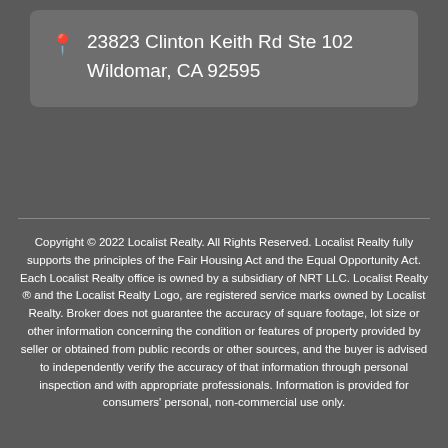23823 Clinton Keith Rd Ste 102 Wildomar, CA 92595
Copyright © 2022 Localist Realty. All Rights Reserved. Localist Realty fully supports the principles of the Fair Housing Act and the Equal Opportunity Act. Each Localist Realty office is owned by a subsidiary of NRT LLC. Localist Realty ® and the Localist Realty Logo, are registered service marks owned by Localist Realty. Broker does not guarantee the accuracy of square footage, lot size or other information concerning the condition or features of property provided by seller or obtained from public records or other sources, and the buyer is advised to independently verify the accuracy of that information through personal inspection and with appropriate professionals. Information is provided for consumers' personal, non-commercial use only.